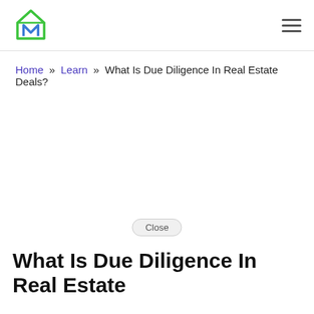Logo and navigation header
Home » Learn » What Is Due Diligence In Real Estate Deals?
[Figure (other): Advertisement area with Close button]
What Is Due Diligence In Real Estate